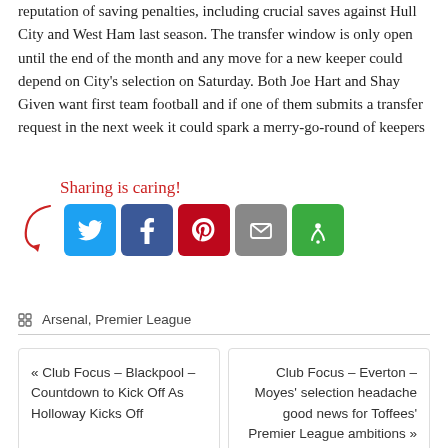reputation of saving penalties, including crucial saves against Hull City and West Ham last season. The transfer window is only open until the end of the month and any move for a new keeper could depend on City’s selection on Saturday. Both Joe Hart and Shay Given want first team football and if one of them submits a transfer request in the next week it could spark a merry-go-round of keepers
[Figure (infographic): Sharing is caring! section with a handwritten-style red text label and arrow pointing to social media share buttons: Twitter (blue), Facebook (dark blue), Pinterest (red), Email (grey), More (green)]
Arsenal, Premier League
« Club Focus – Blackpool – Countdown to Kick Off As Holloway Kicks Off
Club Focus – Everton – Moyes’ selection headache good news for Toffees’ Premier League ambitions »